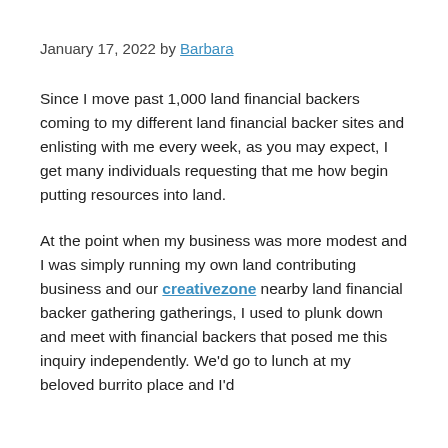January 17, 2022 by Barbara
Since I move past 1,000 land financial backers coming to my different land financial backer sites and enlisting with me every week, as you may expect, I get many individuals requesting that me how begin putting resources into land.
At the point when my business was more modest and I was simply running my own land contributing business and our creativezone nearby land financial backer gathering gatherings, I used to plunk down and meet with financial backers that posed me this inquiry independently. We'd go to lunch at my beloved burrito place and I'd